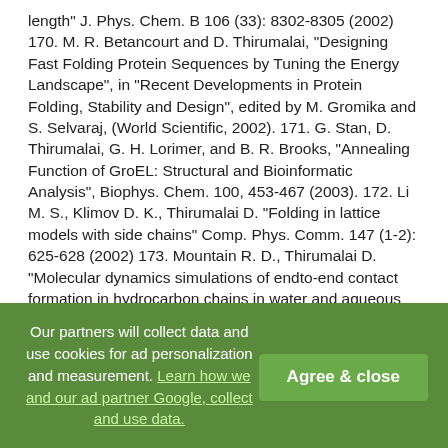length" J. Phys. Chem. B 106 (33): 8302-8305 (2002) 170. M. R. Betancourt and D. Thirumalai, "Designing Fast Folding Protein Sequences by Tuning the Energy Landscape", in "Recent Developments in Protein Folding, Stability and Design", edited by M. Gromika and S. Selvaraj, (World Scientific, 2002). 171. G. Stan, D. Thirumalai, G. H. Lorimer, and B. R. Brooks, "Annealing Function of GroEL: Structural and Bioinformatic Analysis", Biophys. Chem. 100, 453-467 (2003). 172. Li M. S., Klimov D. K., Thirumalai D. "Folding in lattice models with side chains" Comp. Phys. Comm. 147 (1-2): 625-628 (2002) 173. Mountain R. D., Thirumalai D. "Molecular dynamics simulations of endto-end contact formation in hydrocarbon chains in water and aqueous urea solution" J. Amer. Chem. Soc. 125 (7): 1950-1957 (2003) 174. Thirumalai D., "The Dominant Interaction Between Peptide and Urea is Electrostatic in Nature: A Molecular Dynamics Simulation Study", Biopolymers 68, 359-369 (2003) 175. Tobi D., Elber R., Thirumalai D., "The dominant interaction between peptide and urea is electrostatic in nature: A molecular dynamics simulation study" Biopolymers 68 (3): 359-369 (2003) 176.
Our partners will collect data and use cookies for ad personalization and measurement. Learn how we and our ad partner Google, collect and use data.
Agree & close